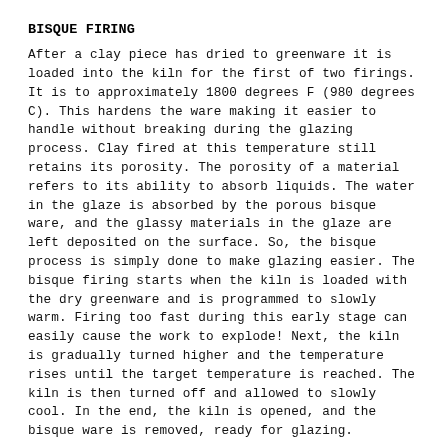BISQUE FIRING
After a clay piece has dried to greenware it is loaded into the kiln for the first of two firings. It is to approximately 1800 degrees F (980 degrees C). This hardens the ware making it easier to handle without breaking during the glazing process. Clay fired at this temperature still retains its porosity. The porosity of a material refers to its ability to absorb liquids. The water in the glaze is absorbed by the porous bisque ware, and the glassy materials in the glaze are left deposited on the surface. So, the bisque process is simply done to make glazing easier. The bisque firing starts when the kiln is loaded with the dry greenware and is programmed to slowly warm. Firing too fast during this early stage can easily cause the work to explode! Next, the kiln is gradually turned higher and the temperature rises until the target temperature is reached. The kiln is then turned off and allowed to slowly cool. In the end, the kiln is opened, and the bisque ware is removed, ready for glazing.